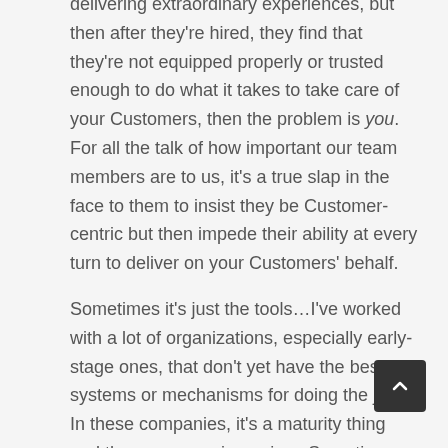delivering extraordinary experiences, but then after they're hired, they find that they're not equipped properly or trusted enough to do what it takes to take care of your Customers, then the problem is you.  For all the talk of how important our team members are to us, it's a true slap in the face to them to insist they be Customer-centric but then impede their ability at every turn to deliver on your Customers' behalf.
Sometimes it's just the tools…I've worked with a lot of organizations, especially early-stage ones, that don't yet have the best systems or mechanisms for doing the job.  In these companies, it's a maturity thing and there are growing pains.  Sometimes there's just not enough revenue yet to build out the proper CRMs and other utilities.  Even in larger, older organizations, though, legacy structures are often more a burden than a help.